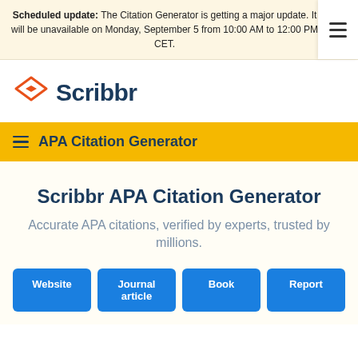Scheduled update: The Citation Generator is getting a major update. It will be unavailable on Monday, September 5 from 10:00 AM to 12:00 PM CET.
[Figure (logo): Scribbr logo with orange graduation cap icon and dark blue 'Scribbr' text]
APA Citation Generator
Scribbr APA Citation Generator
Accurate APA citations, verified by experts, trusted by millions.
Website
Journal article
Book
Report